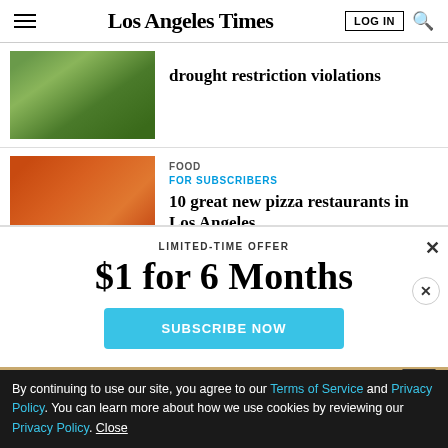Los Angeles Times
drought restriction violations
FOOD
FOR SUBSCRIBERS
10 great new pizza restaurants in Los Angeles...
LIMITED-TIME OFFER
$1 for 6 Months
SUBSCRIBE NOW
By continuing to use our site, you agree to our Terms of Service and Privacy Policy. You can learn more about how we use cookies by reviewing our Privacy Policy. Close